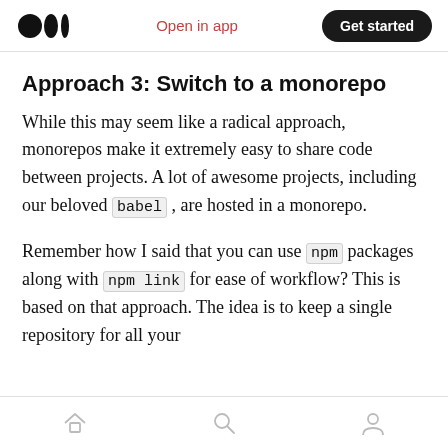Open in app | Get started
Approach 3: Switch to a monorepo
While this may seem like a radical approach, monorepos make it extremely easy to share code between projects. A lot of awesome projects, including our beloved babel, are hosted in a monorepo.
Remember how I said that you can use npm packages along with npm link for ease of workflow? This is based on that approach. The idea is to keep a single repository for all your
Home | Search | Profile